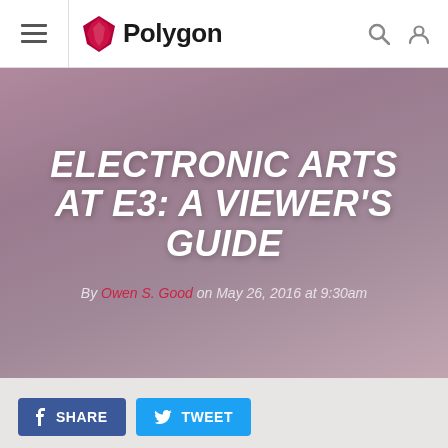Polygon
ELECTRONIC ARTS AT E3: A VIEWER'S GUIDE
By Owen S. Good on May 26, 2016 at 9:30am
SHARE   TWEET